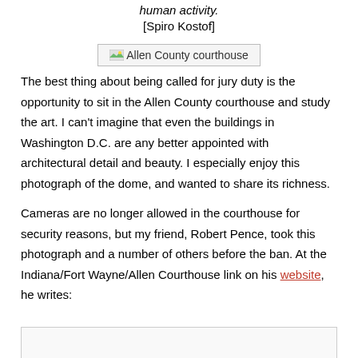human activity.
[Spiro Kostof]
[Figure (photo): Allen County courthouse image placeholder]
The best thing about being called for jury duty is the opportunity to sit in the Allen County courthouse and study the art. I can't imagine that even the buildings in Washington D.C. are any better appointed with architectural detail and beauty. I especially enjoy this photograph of the dome, and wanted to share its richness.
Cameras are no longer allowed in the courthouse for security reasons, but my friend, Robert Pence, took this photograph and a number of others before the ban. At the Indiana/Fort Wayne/Allen Courthouse link on his website, he writes: